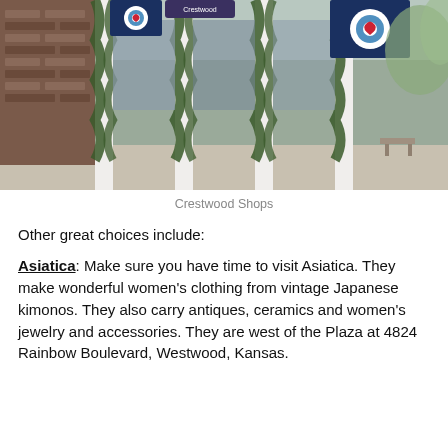[Figure (photo): Outdoor photo of Crestwood Shops storefront with greenery garlands hanging from white columns, dark blue flags with a heart logo, and two people walking on the sidewalk. Trees visible in background.]
Crestwood Shops
Other great choices include:
Asiatica: Make sure you have time to visit Asiatica. They make wonderful women's clothing from vintage Japanese kimonos. They also carry antiques, ceramics and women's jewelry and accessories. They are west of the Plaza at 4824 Rainbow Boulevard, Westwood, Kansas.